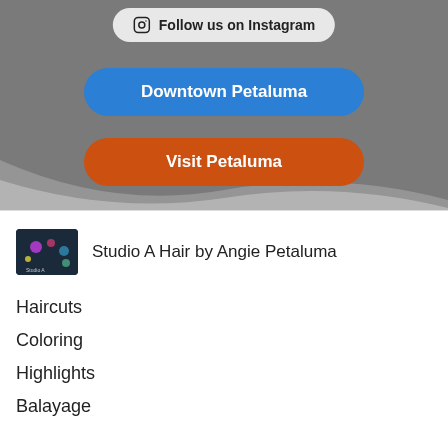[Figure (screenshot): Instagram follow button with icon, gray rounded rectangle]
[Figure (screenshot): Blue rounded button labeled Downtown Petaluma]
[Figure (screenshot): Orange rounded button labeled Visit Petaluma]
[Figure (screenshot): Thumbnail image for Studio A Hair by Angie Petaluma listing]
Studio A Hair by Angie Petaluma
Haircuts
Coloring
Highlights
Balayage